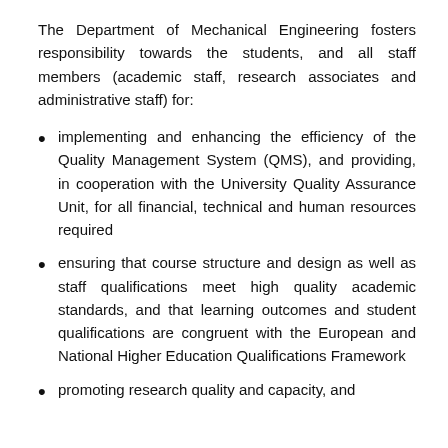The Department of Mechanical Engineering fosters responsibility towards the students, and all staff members (academic staff, research associates and administrative staff) for:
implementing and enhancing the efficiency of the Quality Management System (QMS), and providing, in cooperation with the University Quality Assurance Unit, for all financial, technical and human resources required
ensuring that course structure and design as well as staff qualifications meet high quality academic standards, and that learning outcomes and student qualifications are congruent with the European and National Higher Education Qualifications Framework
promoting research quality and capacity, and